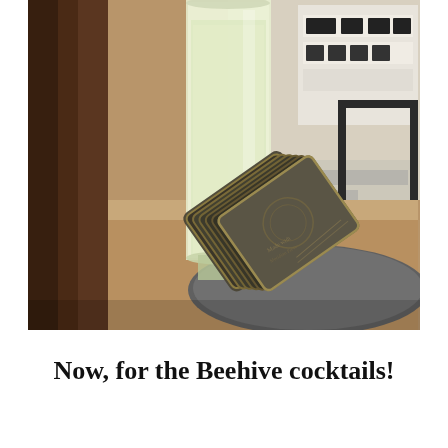[Figure (photo): A tall glass filled with a pale yellow-green cocktail (likely a lemon or lime drink) sitting on a table. In the foreground are several stacked dark gray/brown coasters with gold edges and embossed text. In the background is a white letter board sign partially reading 'WELCO' and blurred table settings.]
Now, for the Beehive cocktails!